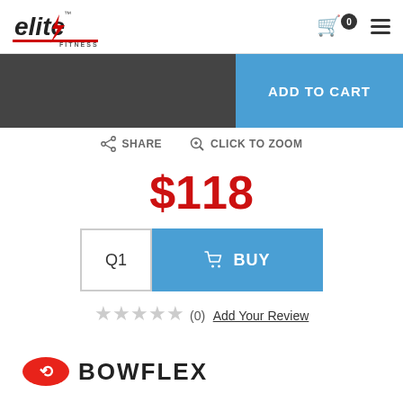[Figure (logo): Elite Fitness logo with lightning bolt and italic bold text]
[Figure (logo): Shopping cart icon with badge showing 0]
ADD TO CART
SHARE
CLICK TO ZOOM
$118
Q1
BUY
★★★★★ (0) Add Your Review
[Figure (logo): Bowflex logo with red swoosh icon and bold uppercase text BOWFLEX]